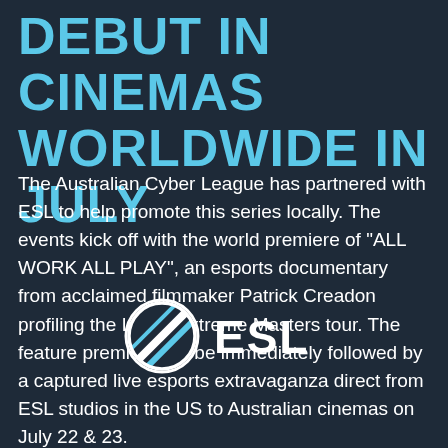DEBUT IN CINEMAS WORLDWIDE IN JULY
The Australian Cyber League has partnered with ESL to help promote this series locally. The events kick off with the world premiere of “ALL WORK ALL PLAY”, an esports documentary from acclaimed filmmaker Patrick Creadon profiling the Intel® Extreme Masters tour. The feature premiere will be immediately followed by a captured live esports extravaganza direct from ESL studios in the US to Australian cinemas on July 22 & 23.
[Figure (logo): ESL logo: circular badge with diagonal stripe and the text ESL in white bold letters]